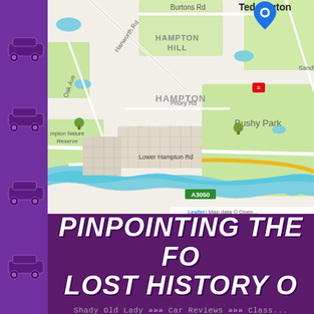[Figure (map): OpenStreetMap showing Hampton Hill, Teddington, Hampton, Bushy Park area in London. Shows roads including Burtons Rd, Hanworth Rd, Oak Ave, Priory Rd, Lower Hampton Rd, and A3050. Shows Hampton Nature Reserve, Bushy Park, and River Thames. Blue location pin near Teddington. Map attribution: Leaflet | Map data © Open...]
PINPOINTING THE FOR... LOST HISTORY OF...
Shady Old Lady >>> Car Reviews >>> Class...